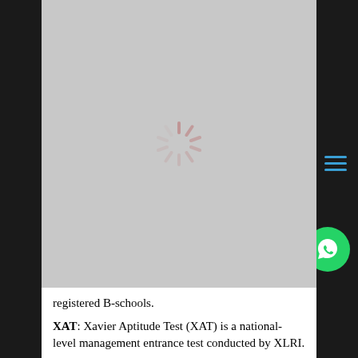[Figure (screenshot): Loading spinner (pinwheel) on a grey background, indicating page content is loading]
registered B-schools.
XAT: Xavier Aptitude Test (XAT) is a national-level management entrance test conducted by XLRI.